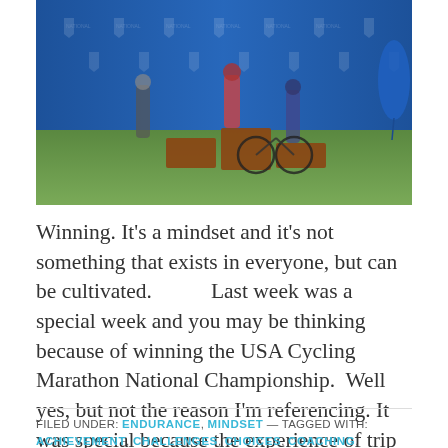[Figure (photo): Photo of cyclists on a podium at USA Cycling Marathon National Championship, with a blue banner backdrop featuring shield logos, standing on wooden/brick podium blocks on grass, a mountain bike visible, and a blue balloon at right.]
Winning. It's a mindset and it's not something that exists in everyone, but can be cultivated.           Last week was a special week and you may be thinking because of winning the USA Cycling Marathon National Championship.  Well yes, but not the reason I'm referencing. It was special because the experience of trip as... Keep Rollin »
FILED UNDER: ENDURANCE, MINDSET — TAGGED WITH: ACHIEVEMENT, CHALLENGES, CHOICES, COACHING, CYCLING,